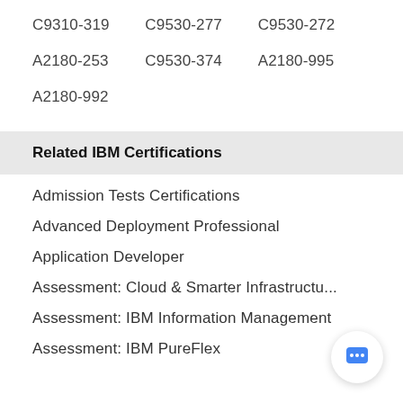C9310-319    C9530-277    C9530-272
A2180-253    C9530-374    A2180-995
A2180-992
Related IBM Certifications
Admission Tests Certifications
Advanced Deployment Professional
Application Developer
Assessment: Cloud & Smarter Infrastructu...
Assessment: IBM Information Management
Assessment: IBM PureFlex